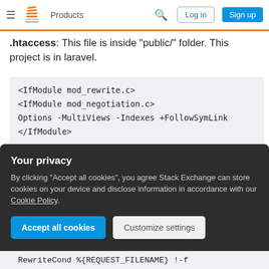≡ [Stack Overflow logo] Products  🔍  Log in  Sign up
.htaccess: This file is inside "public/" folder. This project is in laravel.
<IfModule mod_rewrite.c>
<IfModule mod_negotiation.c>
Options -MultiViews -Indexes +FollowSymLink
</IfModule>

RewriteEngine On

# Handle Authorization Header
RewriteCond %{HTTP:Authorization} .
RewriteRule .* - [E=HTTP_AUTHORIZATION:%{HT
Your privacy
By clicking "Accept all cookies", you agree Stack Exchange can store cookies on your device and disclose information in accordance with our Cookie Policy.
Accept all cookies   Customize settings
RewriteCond %{REQUEST_FILENAME} !-f